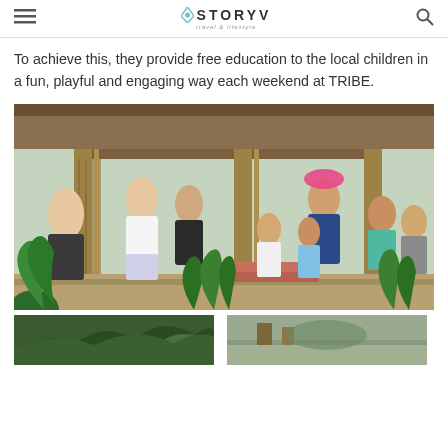≡  STORYV travel & lifestyle  🔍
To achieve this, they provide free education to the local children in a fun, playful and engaging way each weekend at TRIBE.
[Figure (photo): Group of children and adults gathered outside a bamboo/thatched structure, with tropical plants in the foreground. Several children are smiling and playing around wooden steps and colorful furniture.]
[Figure (photo): Bottom strip showing two partial images: left shows tropical green foliage, right shows another outdoor scene.]